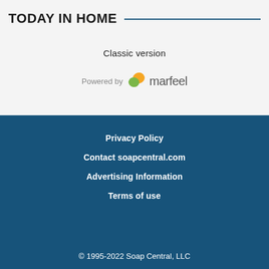TODAY IN HOME
Classic version
[Figure (logo): Powered by marfeel logo with orange and green leaf icon]
Privacy Policy
Contact soapcentral.com
Advertising Information
Terms of use
© 1995-2022 Soap Central, LLC